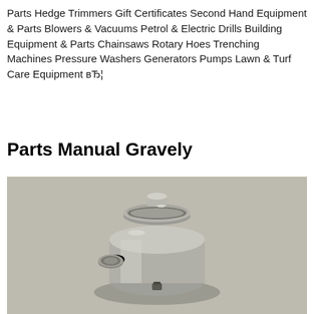Parts Hedge Trimmers Gift Certificates Second Hand Equipment & Parts Blowers & Vacuums Petrol & Electric Drills Building Equipment & Parts Chainsaws Rotary Hoes Trenching Machines Pressure Washers Generators Pumps Lawn & Turf Care Equipment вЂ¦
Parts Manual Gravely
[Figure (photo): Photograph of a Gravely mechanical part (appears to be a metal pulley or spindle component) resting on a gray surface]